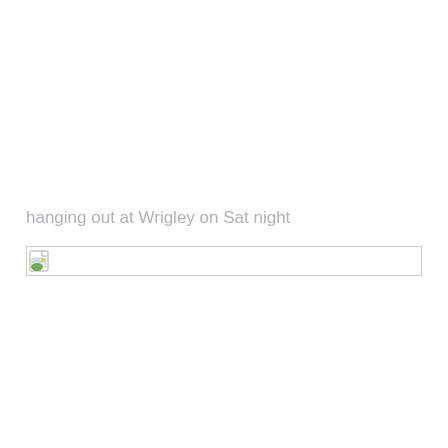hanging out at Wrigley on Sat night
[Figure (photo): Broken/missing image placeholder with small landscape icon, shown inside a bordered rectangle]